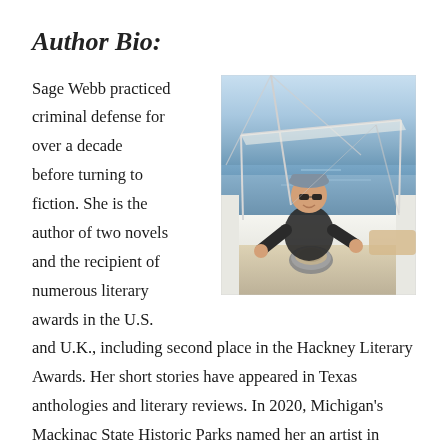Author Bio:
[Figure (photo): A woman wearing sunglasses and a cap sitting in the cockpit of a sailboat on open water, smiling at the camera. Sailing hardware including a winch is visible in the foreground.]
Sage Webb practiced criminal defense for over a decade before turning to fiction. She is the author of two novels and the recipient of numerous literary awards in the U.S. and U.K., including second place in the Hackney Literary Awards. Her short stories have appeared in Texas anthologies and literary reviews. In 2020, Michigan's Mackinac State Historic Parks named her an artist in residence. She belongs to International Thriller Writers and PEN America, and lives with her...